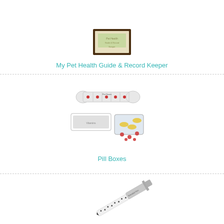[Figure (photo): My Pet Health Guide & Record Keeper product image - a framed document/booklet]
My Pet Health Guide & Record Keeper
[Figure (photo): Pill Boxes - a bone-shaped pill organizer and a standard pill organizer with pills scattered around]
Pill Boxes
[Figure (photo): A silver chrome pen with paw print designs on it]
Paw Print Chrome Pen